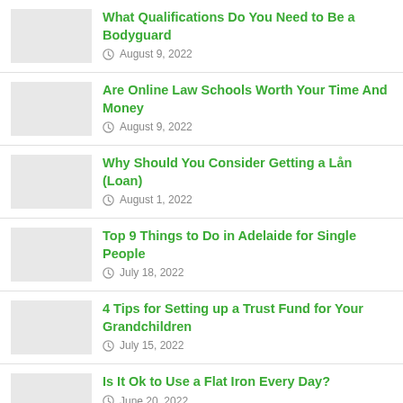What Qualifications Do You Need to Be a Bodyguard
Are Online Law Schools Worth Your Time And Money
Why Should You Consider Getting a Lån (Loan)
Top 9 Things to Do in Adelaide for Single People
4 Tips for Setting up a Trust Fund for Your Grandchildren
Is It Ok to Use a Flat Iron Every Day?